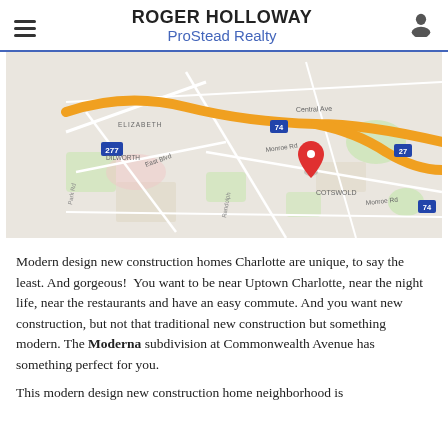ROGER HOLLOWAY ProStead Realty
[Figure (map): Google Maps screenshot showing Charlotte, NC area with orange highway routes, street labels including ELIZABETH, DILWORTH, COTSWOLD, Monroe Rd, Central Ave, East Blvd, and a red location pin marker near Monroe Rd and highway 74.]
Modern design new construction homes Charlotte are unique, to say the least. And gorgeous!  You want to be near Uptown Charlotte, near the night life, near the restaurants and have an easy commute. And you want new construction, but not that traditional new construction but something modern. The Moderna subdivision at Commonwealth Avenue has something perfect for you.
This modern design new construction home neighborhood is